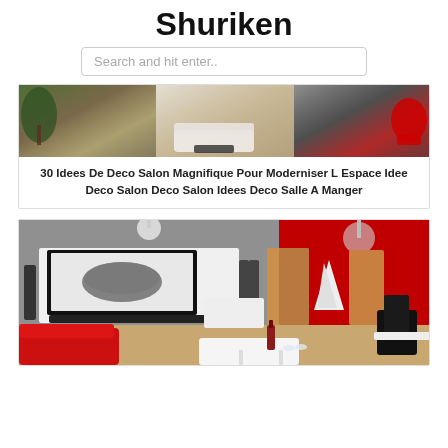Shuriken
Search and hit enter..
[Figure (photo): Collage of three modern living room interior photos side by side]
30 Idees De Deco Salon Magnifique Pour Moderniser L Espace Idee Deco Salon Deco Salon Idees Deco Salle A Manger
[Figure (photo): Modern living room interior with red accent wall, TV unit, speakers, and red sofa]